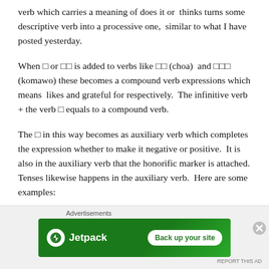verb which carries a meaning of does it or  thinks turns some descriptive verb into a processive one,  similar to what I have posted yesterday.
When □ or □□ is added to verbs like □□ (choa)  and □□□ (komawo) these becomes a compound verb expressions which means  likes and grateful for respectively.  The infinitive verb + the verb □ equals to a compound verb.
The □ in this way becomes as auxiliary verb which completes the expression whether to make it negative or positive.  It is also in the auxiliary verb that the honorific marker is attached. Tenses likewise happens in the auxiliary verb.  Here are some examples:
Advertisements
[Figure (other): Jetpack advertisement banner with logo and 'Back up your site' call-to-action button on green background]